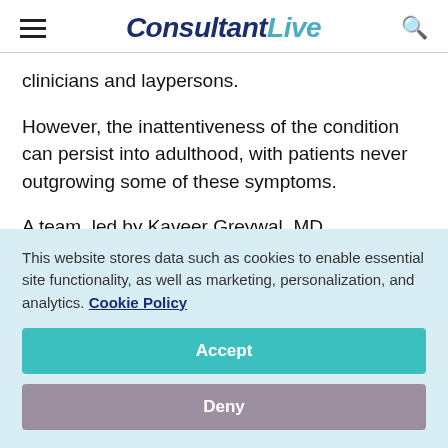ConsultantLive
clinicians and laypersons.
However, the inattentiveness of the condition can persist into adulthood, with patients never outgrowing some of these symptoms.
A team, led by Kaveer Greywal, MD, Department of Psychiatry, New Bridge Medical Center
This website stores data such as cookies to enable essential site functionality, as well as marketing, personalization, and analytics. Cookie Policy
Accept
Deny